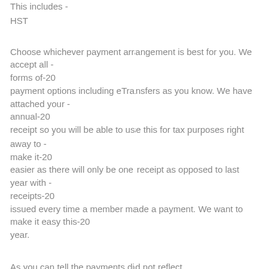This includes -
HST
Choose whichever payment arrangement is best for you. We accept all - forms of-20 payment options including eTransfers as you know. We have attached your - annual-20 receipt so you will be able to use this for tax purposes right away to - make it-20 easier as there will only be one receipt as opposed to last year with - receipts-20 issued every time a member made a payment. We want to make it easy this-20 year.
As you can tell the payments did not reflect